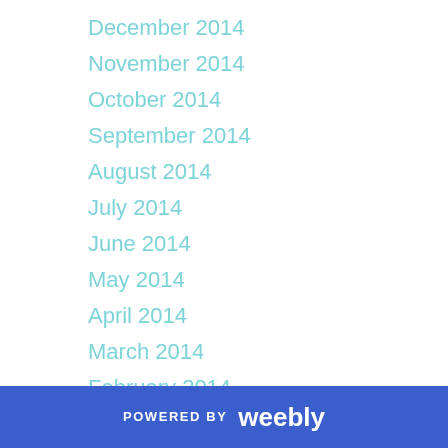December 2014
November 2014
October 2014
September 2014
August 2014
July 2014
June 2014
May 2014
April 2014
March 2014
February 2014
January 2014
December 2013
October 2013
September 2013
August 2013
July 2013
POWERED BY weebly